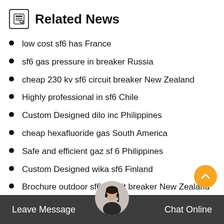Related News
low cost sf6 has France
sf6 gas pressure in breaker Russia
cheap 230 kv sf6 circuit breaker New Zealand
Highly professional in sf6 Chile
Custom Designed dilo inc Philippines
cheap hexafluoride gas South America
Safe and efficient gaz sf 6 Philippines
Custom Designed wika sf6 Finland
Brochure outdoor sf6 circuit breaker New Zealand
Maintenance use of sf6 circuit breaker Bolivia
order sulfur hexafluoride gas Canada
iso sf6 co2 Sweden
Brochure dilo 3 Russia
Leave Message   Chat Online